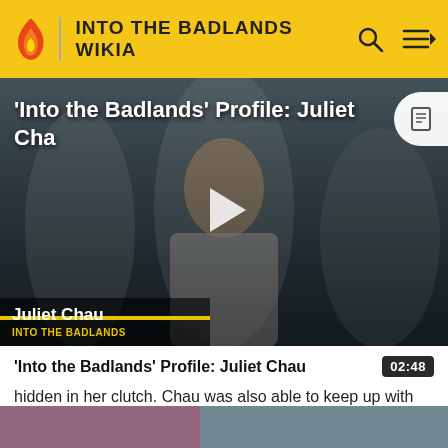INTO THE BADLANDS WIKIA
[Figure (screenshot): Video thumbnail showing Juliet Chau and background characters in white costumes with a play button overlay. Lower left shows name card: Juliet Chau / INTO THE BADLANDS.]
'Into the Badlands' Profile: Juliet Chau 02:48
hidden in her clutch. Chau was also able to keep up with The Widow in a sword fight, appearing to be having the
[Figure (photo): Partial image visible at bottom of page]